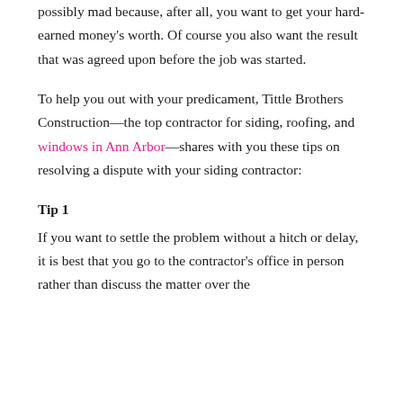possibly mad because, after all, you want to get your hard-earned money's worth. Of course you also want the result that was agreed upon before the job was started.
To help you out with your predicament, Tittle Brothers Construction—the top contractor for siding, roofing, and windows in Ann Arbor—shares with you these tips on resolving a dispute with your siding contractor:
Tip 1
If you want to settle the problem without a hitch or delay, it is best that you go to the contractor's office in person rather than discuss the matter over the